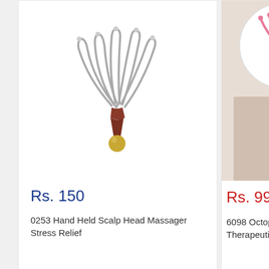[Figure (photo): Hand held scalp head massager with metal tines and wooden handle with gold ball at bottom, shown against white background]
Rs. 150
0253 Hand Held Scalp Head Massager Stress Relief
[Figure (photo): Octopus style therapeutic scalp massager in pink, shown with circular close-up inset and person in background, Save 75% badge]
Save 75%
Rs. 99   Rs. 398
6098 Octopus Stre... Therapeutic Scalp...